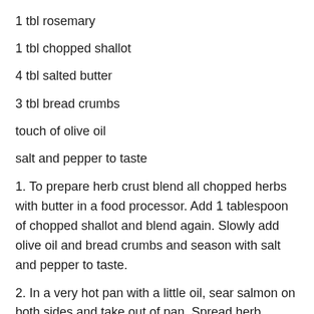1 tbl rosemary
1 tbl chopped shallot
4 tbl salted butter
3 tbl bread crumbs
touch of olive oil
salt and pepper to taste
1. To prepare herb crust blend all chopped herbs with butter in a food processor. Add 1 tablespoon of chopped shallot and blend again. Slowly add olive oil and bread crumbs and season with salt and pepper to taste.
2. In a very hot pan with a little oil, sear salmon on both sides and take out of pan. Spread herb topping over the salmon (not the skin side). Place in oven and cook to desired temperature. (Medium rare is recommended ~ 120º). Once cooked, take out